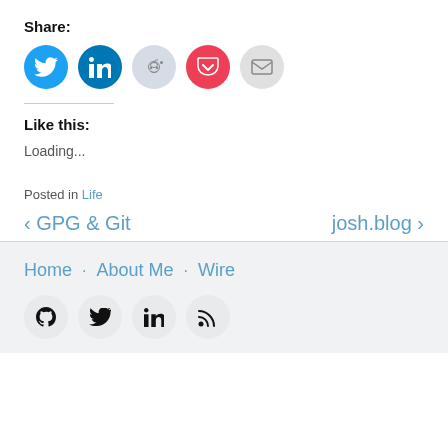Share:
[Figure (infographic): Five social share icon circles: Twitter (blue), LinkedIn (dark blue), Reddit (light blue-grey), Pocket (red/pink), Email (grey)]
Like this:
Loading...
Posted in Life
‹ GPG & Git
josh.blog ›
Home · About Me · Wire
[Figure (infographic): Four footer icon circles: GitHub, Twitter, LinkedIn, RSS — all black on light grey circles]